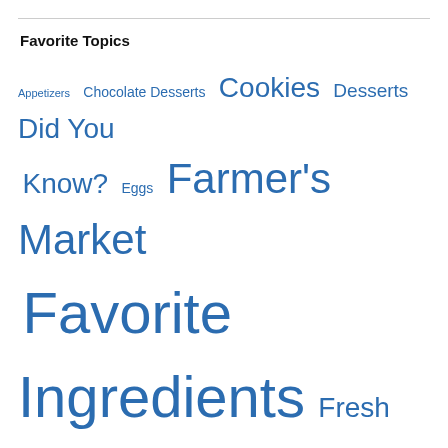Favorite Topics
Appetizers  Chocolate Desserts  Cookies  Desserts  Did You Know?  Eggs  Farmer's Market  Favorite Ingredients  Fresh Fruit  Fresh Herbs  Fresh Produce  Honey  Jack the Cat  Maui  Quotes  Roasted Vegetables  Rye Bread  Salad Dressings  Salads  Sandwiches  Snacks  Soups  Uncategorized  Upcountry Maui  Vegetables  What's for Breakfast?